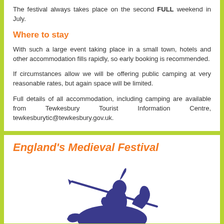The festival always takes place on the second FULL weekend in July.
Where to stay
With such a large event taking place in a small town, hotels and other accommodation fills rapidly, so early booking is recommended.
If circumstances allow we will be offering public camping at very reasonable rates, but again space will be limited.
Full details of all accommodation, including camping are available from Tewkesbury Tourist Information Centre, tewkesburytic@tewkesbury.gov.uk.
England's Medieval Festival
[Figure (illustration): Blue illustration of a medieval knight on horseback with a lance or spear, in a charging pose]